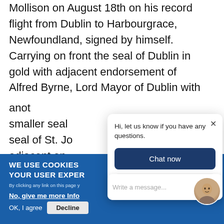Mollison on August 18th on his record flight from Dublin to Harbourgrace, Newfoundland, signed by himself. Carrying on front the seal of Dublin in gold with adjacent endorsement of Alfred Byrne, Lord Mayor of Dublin with anot smaller seal seal of St. Jo adjacent en
WE USE COOKIES YOUR USER EXPER By clicking any link on this page y No, give me more Info OK, I agree Decline
[Figure (screenshot): Chat popup widget with greeting 'Hi, let us know if you have any questions.' and two buttons: 'Chat now' (dark navy) and 'Just browsing' (light grey). Below is a message input bar with placeholder 'Write a message...' and a send button arrow, plus an avatar photo of a man.]